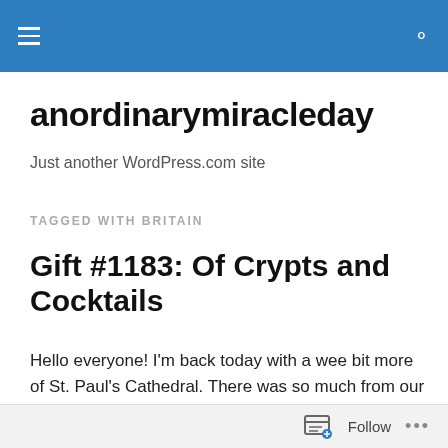anordinarymiracleday — site header bar
anordinarymiracleday
Just another WordPress.com site
TAGGED WITH BRITAIN
Gift #1183: Of Crypts and Cocktails
Hello everyone!  I'm back today with a wee bit more of St. Paul's Cathedral.  There was so much from our time there that I wanted to share with you that I decided to break it up
Follow